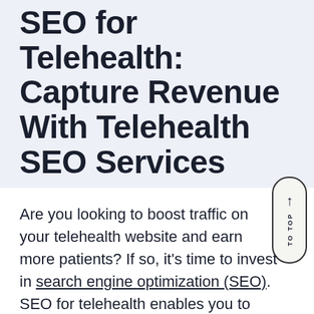SEO for Telehealth: Capture Revenue With Telehealth SEO Services
Are you looking to boost traffic on your telehealth website and earn more patients? If so, it's time to invest in search engine optimization (SEO). SEO for telehealth enables you to appear in more search results, so more